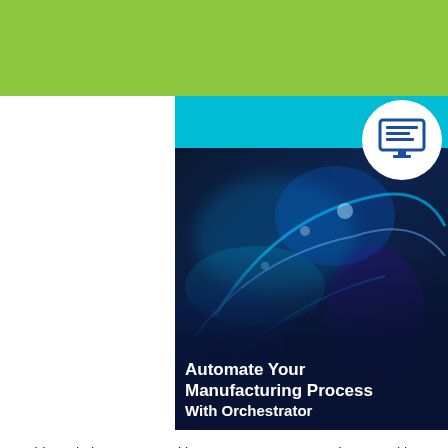[Figure (screenshot): Green navigation bar with hamburger menu icon on the left and location pin icon on the right, website header]
[Figure (photo): Hero image showing a manufacturing/industrial scene with blue glowing abstract technology overlay. Text reads 'Automate Your Manufacturing Process With Orchestrator' overlaid on a dark navy gradient at the bottom. A report/monitor icon in a white circle appears in the upper right of the image area.]
This website stores cookies on your computer. These cookies are used to collect information about how you interact with our website and allow us to remember you. We use this information in order to improve and customize your browsing experience and for analytics and metrics about our visitors both on this website and other media. To find out more about the cookies we use, see our Privacy Policy
Accept